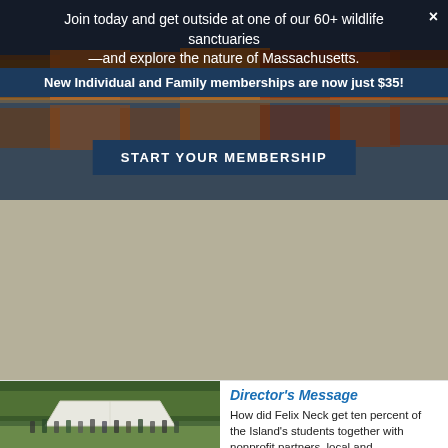[Figure (photo): Scenic autumn landscape with lake and colorful trees reflected in water, used as banner background]
Join today and get outside at one of our 60+ wildlife sanctuaries —and explore the nature of Massachusetts.
New Individual and Family memberships are now just $35!
START YOUR MEMBERSHIP
[Figure (photo): Large grey/tan blank area representing a collapsed or unloaded content section]
[Figure (photo): Group photo of students and staff gathered outdoors under a white tent canopy surrounded by trees]
Director's Message
How did Felix Neck get ten percent of the Island's students together with nonprofit partners, local and